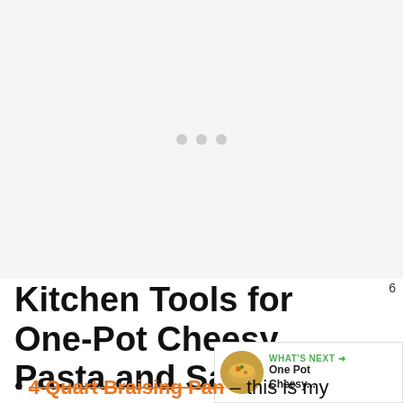[Figure (other): Advertisement placeholder area with three gray loading dots centered on a light gray background]
[Figure (other): Green circular heart/favorite button with white heart icon, showing count of 6 below, and a share button below that]
[Figure (other): What's Next widget showing a circular thumbnail of cheesy pasta dish and text 'WHAT'S NEXT → One Pot Cheesy...']
Kitchen Tools for One-Pot Cheesy Pasta and Saus
4 Quart Braising Pan – this is my